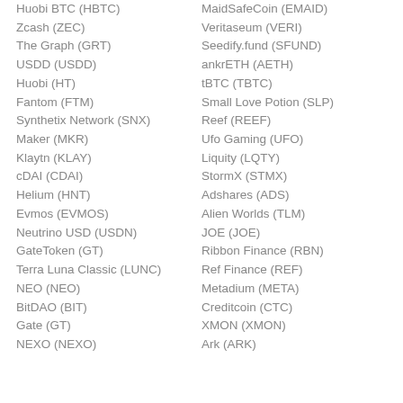Huobi BTC (HBTC)
MaidSafeCoin (EMAID)
Zcash (ZEC)
Veritaseum (VERI)
The Graph (GRT)
Seedify.fund (SFUND)
USDD (USDD)
ankrETH (AETH)
Huobi (HT)
tBTC (TBTC)
Fantom (FTM)
Small Love Potion (SLP)
Synthetix Network (SNX)
Reef (REEF)
Maker (MKR)
Ufo Gaming (UFO)
Klaytn (KLAY)
Liquity (LQTY)
cDAI (CDAI)
StormX (STMX)
Helium (HNT)
Adshares (ADS)
Evmos (EVMOS)
Alien Worlds (TLM)
Neutrino USD (USDN)
JOE (JOE)
GateToken (GT)
Ribbon Finance (RBN)
Terra Luna Classic (LUNC)
Ref Finance (REF)
NEO (NEO)
Metadium (META)
BitDAO (BIT)
Creditcoin (CTC)
Gate (GT)
XMON (XMON)
NEXO (NEXO)
Ark (ARK)